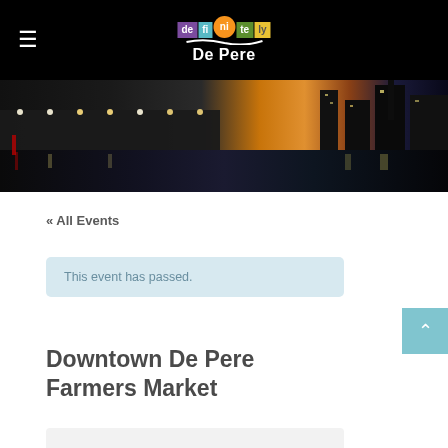[Figure (logo): Definitely De Pere colorful logo with building-shaped letter blocks and white 'De Pere' text on black header bar, with hamburger menu icon on left]
[Figure (photo): Nighttime panoramic photo of De Pere bridge lit with lights reflecting on water, industrial skyline in background with orange/blue twilight sky]
« All Events
This event has passed.
Downtown De Pere Farmers Market